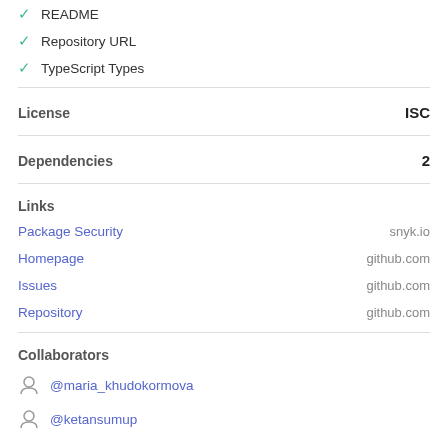✓ README
✓ Repository URL
✓ TypeScript Types
License
ISC
Dependencies
2
Links
Package Security — snyk.io
Homepage — github.com
Issues — github.com
Repository — github.com
Collaborators
@maria_khudokormova
@ketansumup